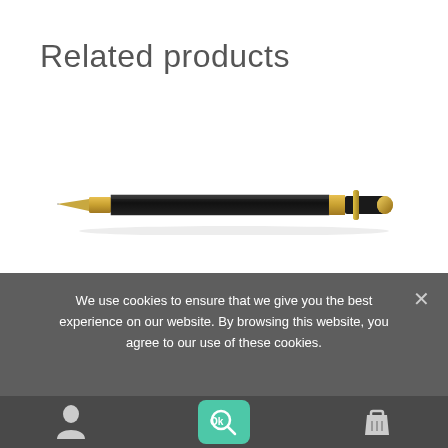Related products
[Figure (photo): A luxury ballpoint pen with a dark textured body and gold-tone accents, including a gold tip, gold clip, and gold end cap, photographed on a white background at a slight diagonal angle.]
We use cookies to ensure that we give you the best experience on our website. By browsing this website, you agree to our use of these cookies.